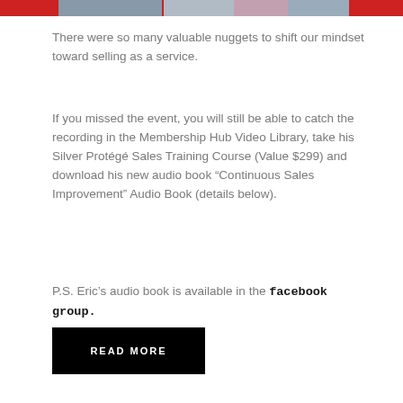[Figure (photo): Top banner image strip showing people at an event, partially cropped]
There were so many valuable nuggets to shift our mindset toward selling as a service.
If you missed the event, you will still be able to catch the recording in the Membership Hub Video Library, take his Silver Protégé Sales Training Course (Value $299) and download his new audio book “Continuous Sales Improvement” Audio Book (details below).
P.S. Eric’s audio book is available in the facebook group.
READ MORE